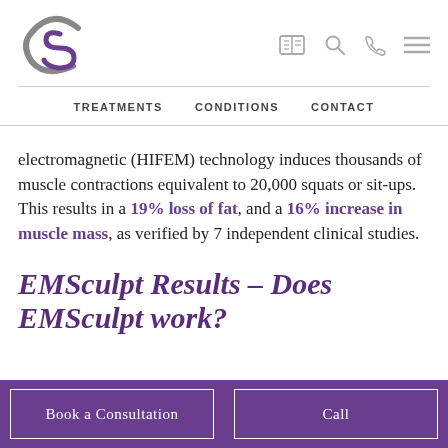[Figure (logo): CS monogram logo in grey/silver with overlapping C and S letters]
TREATMENTS   CONDITIONS   CONTACT
electromagnetic (HIFEM) technology induces thousands of muscle contractions equivalent to 20,000 squats or sit-ups. This results in a 19% loss of fat, and a 16% increase in muscle mass, as verified by 7 independent clinical studies.
EMSculpt Results – Does EMSculpt work?
Book a Consultation
Call